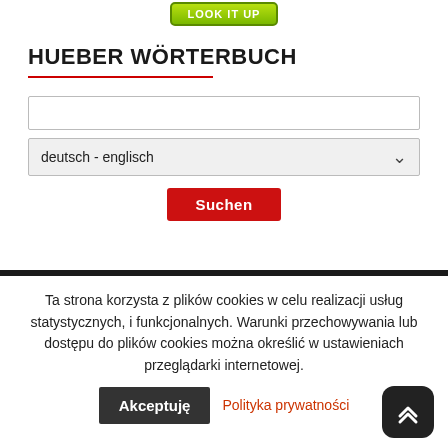[Figure (screenshot): Green 'LOOK IT UP' button at top center]
HUEBER WÖRTERBUCH
[Figure (screenshot): Search input field (text box), language dropdown 'deutsch - englisch', and red Suchen button]
[Figure (screenshot): Dark black navigation/footer band with darker inner panel]
Ta strona korzysta z plików cookies w celu realizacji usług statystycznych, i funkcjonalnych. Warunki przechowywania lub dostępu do plików cookies można określić w ustawieniach przeglądarki internetowej.
[Figure (screenshot): Akceptuję button and Polityka prywatności link, and scroll-to-top arrow button]